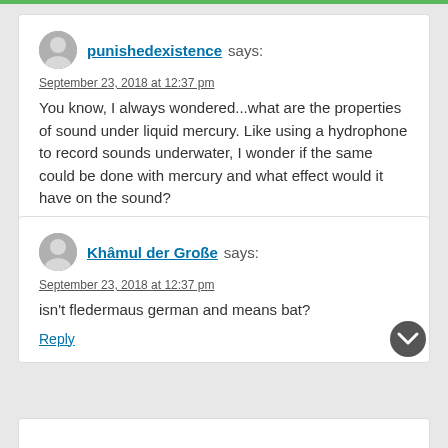punishedexistence says:
September 23, 2018 at 12:37 pm
You know, I always wondered...what are the properties of sound under liquid mercury. Like using a hydrophone to record sounds underwater, I wonder if the same could be done with mercury and what effect would it have on the sound?
Reply
Khâmul der Große says:
September 23, 2018 at 12:37 pm
isn't fledermaus german and means bat?
Reply